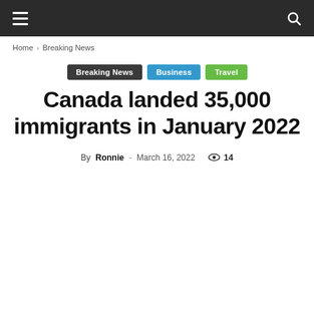Navigation bar with hamburger menu and search icon
Home › Breaking News
Breaking News   Business   Travel
Canada landed 35,000 immigrants in January 2022
By Ronnie - March 16, 2022  👁 14